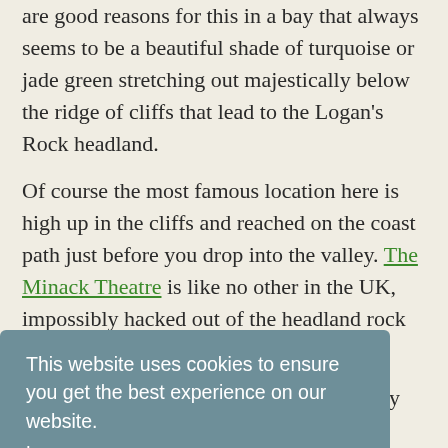are good reasons for this in a bay that always seems to be a beautiful shade of turquoise or jade green stretching out majestically below the ridge of cliffs that lead to the Logan's Rock headland.
Of course the most famous location here is high up in the cliffs and reached on the coast path just before you drop into the valley. The Minack Theatre is like no other in the UK, impossibly hacked out of the headland rock its design is
t was ought 920. ic
[Figure (screenshot): Cookie consent overlay popup with teal/blue-grey background. Contains text 'This website uses cookies to ensure you get the best experience on our website.' with a 'Learn more' link and a purple 'Got it!' button.]
1932... only the Tempest and in those early days